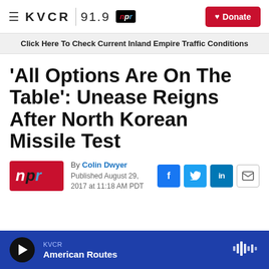KVCR 91.9 NPR | Donate
Click Here To Check Current Inland Empire Traffic Conditions
'All Options Are On The Table': Unease Reigns After North Korean Missile Test
By Colin Dwyer
Published August 29, 2017 at 11:18 AM PDT
[Figure (logo): NPR logo in red and blue on dark background]
KVCR American Routes